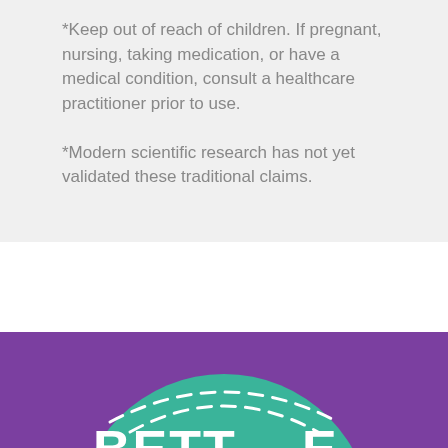*Keep out of reach of children. If pregnant, nursing, taking medication, or have a medical condition, consult a healthcare practitioner prior to use.
*Modern scientific research has not yet validated these traditional claims.
[Figure (logo): Purple background with a teal/green semicircle rising from the bottom, containing white dashed arc lines and partial white bold text letters at the bottom edge of the visible area.]